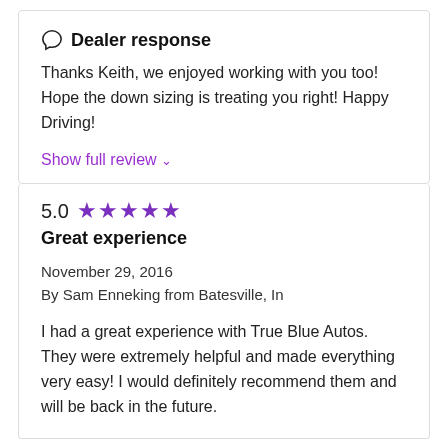Dealer response
Thanks Keith, we enjoyed working with you too! Hope the down sizing is treating you right! Happy Driving!
Show full review ∨
5.0 ★★★★★
Great experience
November 29, 2016
By Sam Enneking from Batesville, In
I had a great experience with True Blue Autos. They were extremely helpful and made everything very easy! I would definitely recommend them and will be back in the future.